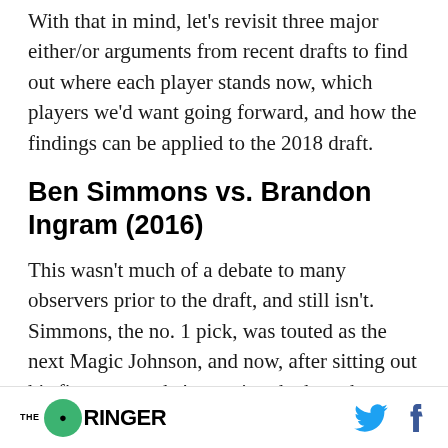With that in mind, let's revisit three major either/or arguments from recent drafts to find out where each player stands now, which players we'd want going forward, and how the findings can be applied to the 2018 draft.
Ben Simmons vs. Brandon Ingram (2016)
This wasn't much of a debate to many observers prior to the draft, and still isn't. Simmons, the no. 1 pick, was touted as the next Magic Johnson, and now, after sitting out his first season, he's meeting the hype by averaging a near-triple-double on a
THE RINGER